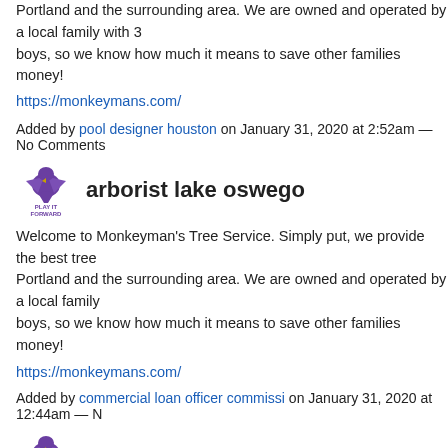Welcome to Monkeyman's Tree Service. Simply put, we provide the best tree service in Portland and the surrounding area. We are owned and operated by a local family with 3 boys, so we know how much it means to save other families money!
https://monkeymans.com/
Added by pool designer houston on January 31, 2020 at 2:52am — No Comments
[Figure (logo): Play It Forward logo - purple bird/hawk graphic with text PLAY IT FORWARD]
arborist lake oswego
Welcome to Monkeyman's Tree Service. Simply put, we provide the best tree service in Portland and the surrounding area. We are owned and operated by a local family with 3 boys, so we know how much it means to save other families money!
https://monkeymans.com/
Added by commercial loan officer commissi on January 31, 2020 at 12:44am — N
[Figure (logo): Play It Forward logo - purple bird/hawk graphic with text PLAY IT FORWARD]
arborist wilsonville
Welcome to Monkeyman's Tree Service. Simply put, we provide the best tree service in Portland and the surrounding area. We are owned and operated by a local family with 3 boys, so we know how much it means to save other families money!
https://monkeymans.com/
Added by free ad posting websites on January 31, 2020 at 12:38am — No Comm